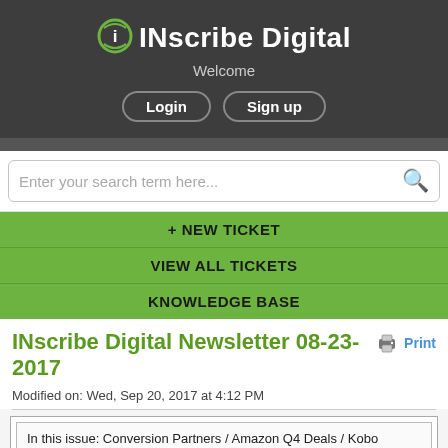INscribe Digital
Welcome
Login  Sign up
Enter your search term here...
+ NEW TICKET
VIEW ALL TICKETS
KNOWLEDGE BASE
INscribe Digital Newsletter 08-23-2017
Modified on: Wed, Sep 20, 2017 at 4:12 PM
In this issue: Conversion Partners / Amazon Q4 Deals / Kobo Promos / IBPA Book Awards
View this email in your browser